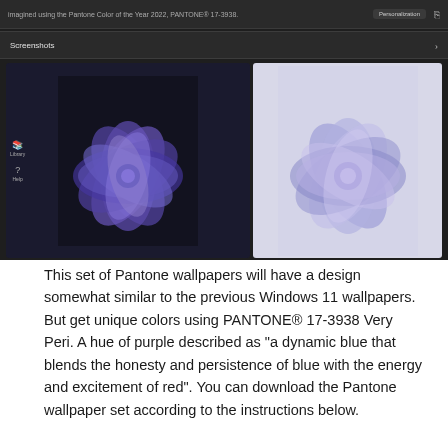[Figure (screenshot): Screenshot of a Windows app store or settings page showing two wallpaper screenshots with a dark theme. The top area shows a 'Personalization' button and a 'Screenshots' section header with an arrow. Below are two side-by-side wallpaper previews: left shows a dark background with a purple-blue abstract flower bloom (Windows 11 style), right shows a light gray background with the same flower in lighter purple tones. A sidebar with Library and Help icons is visible on the left edge of the left image.]
This set of Pantone wallpapers will have a design somewhat similar to the previous Windows 11 wallpapers. But get unique colors using PANTONE® 17-3938 Very Peri. A hue of purple described as "a dynamic blue that blends the honesty and persistence of blue with the energy and excitement of red". You can download the Pantone wallpaper set according to the instructions below.